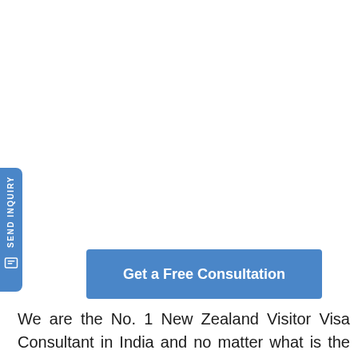[Figure (other): Blue vertical 'SEND INQUIRY' button tab on the left side with a chat/message icon below the text]
[Figure (other): Blue rectangular 'Get a Free Consultation' button]
We are the No. 1 New Zealand Visitor Visa Consultant in India and no matter what is the reason for your travelling. We provide the best solution for